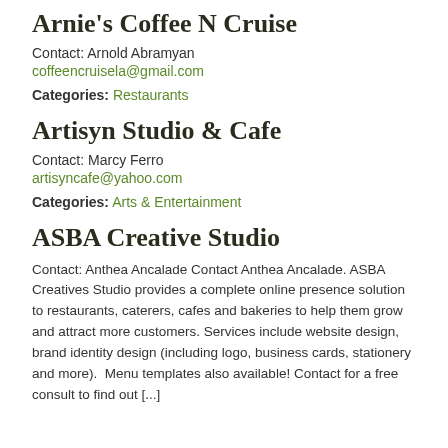Arnie's Coffee N Cruise
Contact: Arnold Abramyan
coffeencruisela@gmail.com
Categories: Restaurants
Artisyn Studio & Cafe
Contact: Marcy Ferro
artisyncafe@yahoo.com
Categories: Arts & Entertainment
ASBA Creative Studio
Contact: Anthea Ancalade Contact Anthea Ancalade. ASBA Creatives Studio provides a complete online presence solution to restaurants, caterers, cafes and bakeries to help them grow and attract more customers. Services include website design, brand identity design (including logo, business cards, stationery and more). Menu templates also available! Contact for a free consult to find out [...]